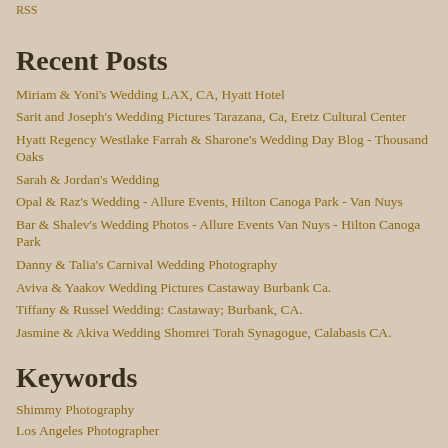RSS
Recent Posts
Miriam & Yoni's Wedding LAX, CA, Hyatt Hotel
Sarit and Joseph's Wedding Pictures Tarazana, Ca, Eretz Cultural Center
Hyatt Regency Westlake Farrah & Sharone's Wedding Day Blog - Thousand Oaks
Sarah & Jordan's Wedding
Opal & Raz's Wedding - Allure Events, Hilton Canoga Park - Van Nuys
Bar & Shalev's Wedding Photos - Allure Events Van Nuys - Hilton Canoga Park
Danny & Talia's Carnival Wedding Photography
Aviva & Yaakov Wedding Pictures Castaway Burbank Ca.
Tiffany & Russel Wedding: Castaway; Burbank, CA.
Jasmine & Akiva Wedding Shomrei Torah Synagogue, Calabasis CA.
Keywords
Shimmy Photography
Los Angeles Photographer
Los Angeles Wedding Photographer
los angeles photography
Family portrait photography
Santa Monica Engagement photos
Family Portraits